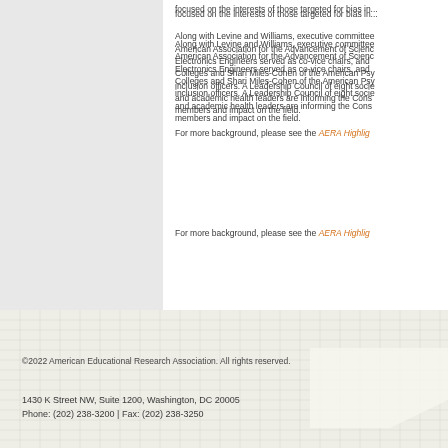focused on the interests of those targeted for bias in...
Along with Levine and Williams, executive committee... American Association for the Advancement of Science... Electronics Engineers served as co-vice chairs, and... Colleges and Shari Miles-Cohen of the American Psy... inclusion officers. A Leadership Council of eight socie... and academic health leaders are informing the Cons... members and impact on the field.
For more background, please see the AERA Highlig...
©2022 American Educational Research Association. All rights reserved.
1430 K Street NW, Suite 1200, Washington, DC 20005
Phone: (202) 238-3200 | Fax: (202) 238-3250